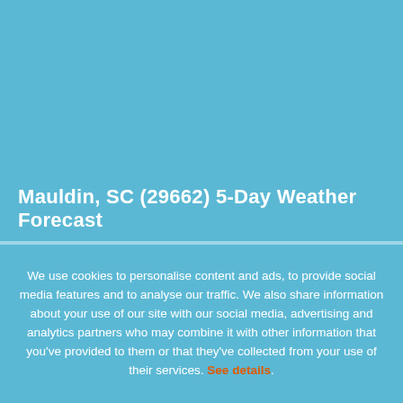Mauldin, SC (29662) 5-Day Weather Forecast
We use cookies to personalise content and ads, to provide social media features and to analyse our traffic. We also share information about your use of our site with our social media, advertising and analytics partners who may combine it with other information that you've provided to them or that they've collected from your use of their services. See Details.
[Figure (screenshot): Weather forecast panel showing temperature readings: 72°, 72°, 72°, 81°, 90°, 89° (highlighted), 81°, 77° with weather icons (cloudy/partly cloudy and sunny) at times 02:00, 05:00, 08:00, 11:00, 14:00, 17:00, 20:00, 23:00 for August 20]